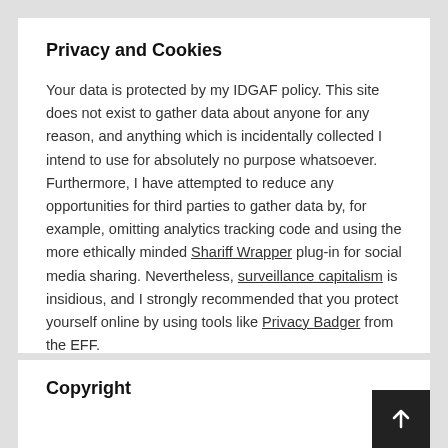Privacy and Cookies
Your data is protected by my IDGAF policy. This site does not exist to gather data about anyone for any reason, and anything which is incidentally collected I intend to use for absolutely no purpose whatsoever. Furthermore, I have attempted to reduce any opportunities for third parties to gather data by, for example, omitting analytics tracking code and using the more ethically minded Shariff Wrapper plug-in for social media sharing. Nevertheless, surveillance capitalism is insidious, and I strongly recommended that you protect yourself online by using tools like Privacy Badger from the EFF.
Copyright